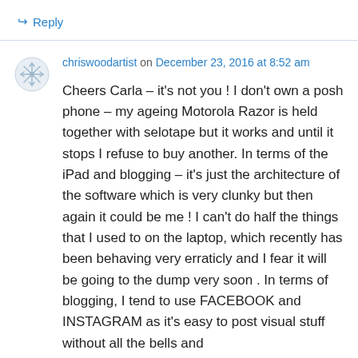↳ Reply
chriswoodartist on December 23, 2016 at 8:52 am
Cheers Carla – it's not you ! I don't own a posh phone – my ageing Motorola Razor is held together with selotape but it works and until it stops I refuse to buy another. In terms of the iPad and blogging – it's just the architecture of the software which is very clunky but then again it could be me ! I can't do half the things that I used to on the laptop, which recently has been behaving very erraticly and I fear it will be going to the dump very soon . In terms of blogging, I tend to use FACEBOOK and INSTAGRAM as it's easy to post visual stuff without all the bells and